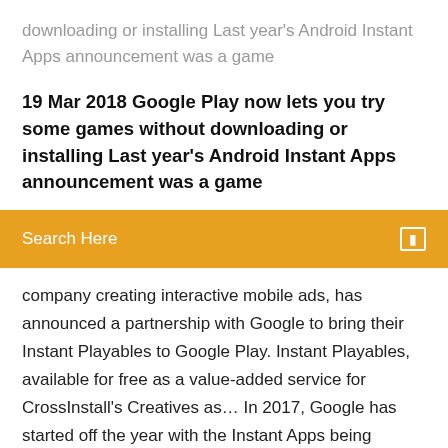downloading or installing Last year's Android Instant Apps announcement was a game
19 Mar 2018 Google Play now lets you try some games without downloading or installing Last year's Android Instant Apps announcement was a game
[Figure (other): Orange search bar with text 'Search Here' and a small icon on the right]
company creating interactive mobile ads, has announced a partnership with Google to bring their Instant Playables to Google Play. Instant Playables, available for free as a value-added service for CrossInstall's Creatives as… In 2017, Google has started off the year with the Instant Apps being tested. In this article, we discuss Instant Apps, the traditional conversion process and the alternative automated approach that we have implemented in DexGuard. Hide Chat by Chat Mask & Instant Apps on Curtain 2.9.6 download - Now in more than 100 languages with Snow Fall on chat curtain. Hideo whatsapp